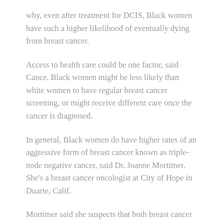why, even after treatment for DCIS, Black women have such a higher likelihood of eventually dying from breast cancer.
Access to health care could be one factor, said Cance. Black women might be less likely than white women to have regular breast cancer screening, or might receive different care once the cancer is diagnosed.
In general, Black women do have higher rates of an aggressive form of breast cancer known as triple-node negative cancer, said Dr. Joanne Mortimer. She's a breast cancer oncologist at City of Hope in Duarte, Calif.
Mortimer said she suspects that both breast cancer biology and issues with access to health care help explain the higher death rates among Black women.